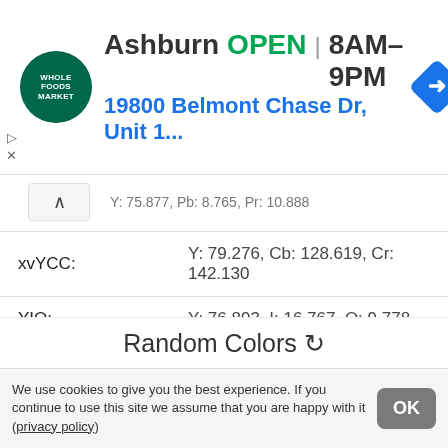[Figure (screenshot): Whole Foods Market advertisement banner showing Ashburn location, OPEN 8AM-9PM, address 19800 Belmont Chase Dr, Unit 1...]
Y: 75.877, Pb: 8.765, Pr: 10.888
| xvYCC: | Y: 79.276, Cb: 128.619, Cr: 142.130 |
| YIQ: | Y: 76.893, I: 16.767, Q: 9.778 |
| YUV: | Y: 76.893, U: -0.931, V: 19.395 |
| Munsell Color System: | 7.5RP 3/4  ΔE = 2.580 |
| Brand Color: | Carbonmade  ΔE = 7.590 |
Random Colors
We use cookies to give you the best experience. If you continue to use this site we assume that you are happy with it (privacy policy)